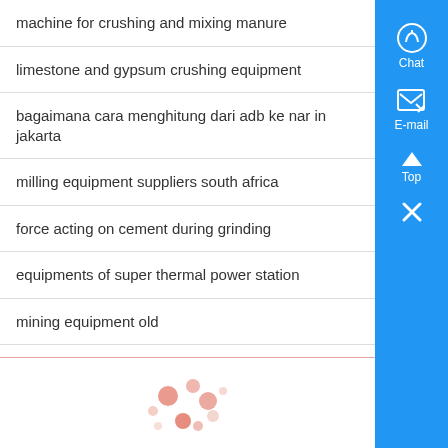machine for crushing and mixing manure
limestone and gypsum crushing equipment
bagaimana cara menghitung dari adb ke nar in jakarta
milling equipment suppliers south africa
force acting on cement during grinding
equipments of super thermal power station
mining equipment old
dimond stone crusher mesin
[Figure (logo): Drupal-style decorative logo with colorful circles/droplets at the bottom of the page]
[Figure (infographic): Blue sidebar with Chat icon, E-mail icon, Top arrow button, and X close button]